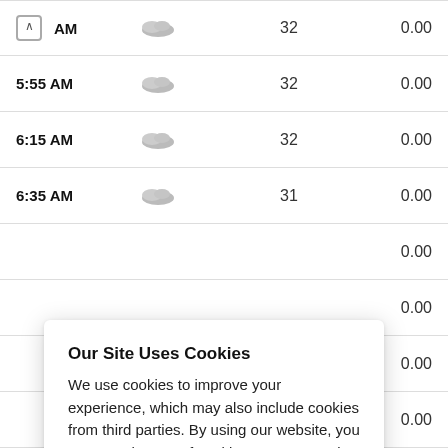| Time | Condition | Temp | Precip |
| --- | --- | --- | --- |
| AM |  | 32 | 0.00 |
| 5:55 AM |  | 32 | 0.00 |
| 6:15 AM |  | 32 | 0.00 |
| 6:35 AM |  | 31 | 0.00 |
|  |  |  | 0.00 |
|  |  |  | 0.00 |
|  |  |  | 0.00 |
|  |  |  | 0.00 |
| 8:15 AM |  | 31 | 0.00 |
Our Site Uses Cookies
We use cookies to improve your experience, which may also include cookies from third parties. By using our website, you agree to the use of cookies. Learn more in our privacy policy.
ACCEPT & CLOSE